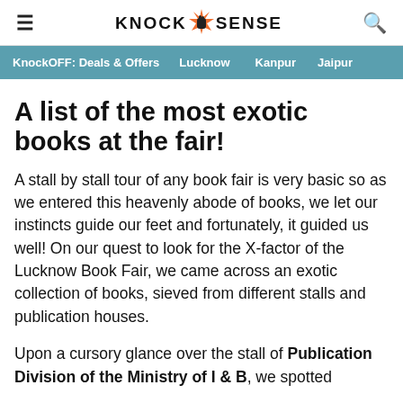KNOCK SENSE
KnockOFF: Deals & Offers   Lucknow   Kanpur   Jaipur
A list of the most exotic books at the fair!
A stall by stall tour of any book fair is very basic so as we entered this heavenly abode of books, we let our instincts guide our feet and fortunately, it guided us well! On our quest to look for the X-factor of the Lucknow Book Fair, we came across an exotic collection of books, sieved from different stalls and publication houses.
Upon a cursory glance over the stall of Publication Division of the Ministry of I & B, we spotted